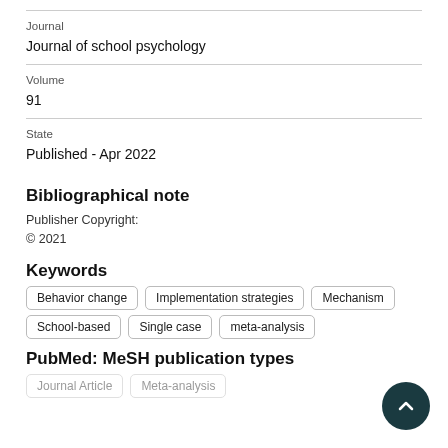Journal
Journal of school psychology
Volume
91
State
Published - Apr 2022
Bibliographical note
Publisher Copyright:
© 2021
Keywords
Behavior change
Implementation strategies
Mechanism
School-based
Single case
meta-analysis
PubMed: MeSH publication types